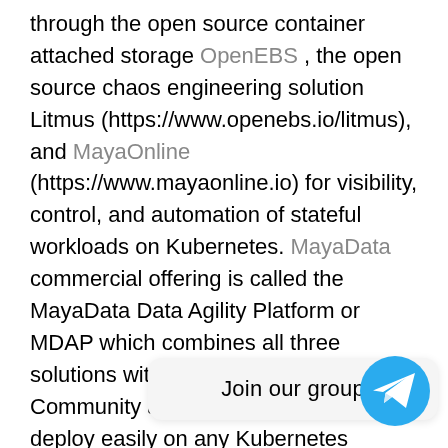through the open source container attached storage OpenEBS , the open source chaos engineering solution Litmus (https://www.openebs.io/litmus), and MayaOnline (https://www.mayaonline.io) for visibility, control, and automation of stateful workloads on Kubernetes. MayaData commercial offering is called the MayaData Data Agility Platform or MDAP which combines all three solutions with proactive support. Community and commercial offerings deploy easily on any Kubernetes distribution and are available as default options in offerings from Rancher, IBM Cloud Private, Red Hat OpenShift, KontenaPharos, StackPointCloud, and the leading cloud vendors including managed Kubernetes offerings from Google, Amazon, IBM, Microsoft Azure, and others. Non-MayaData contributors to OpenEBS include JD.com, Cisco, and other leading users and developers ...
[Figure (infographic): Telegram 'Join our group' tooltip with Telegram logo icon]